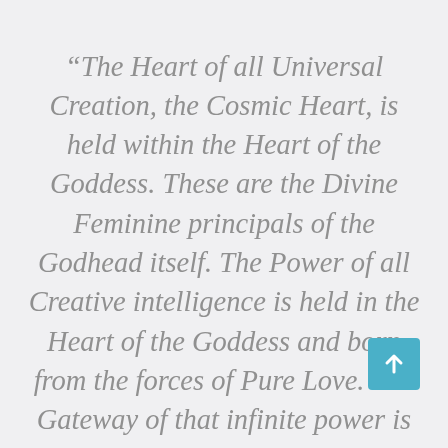“The Heart of all Universal Creation, the Cosmic Heart, is held within the Heart of the Goddess. These are the Divine Feminine principals of the Godhead itself. The Power of all Creative intelligence is held in the Heart of the Goddess and born from the forces of Pure Love. The Gateway of that infinite power is accessed within your own heart center. This Cosmic Heart Matrix is the ma[in] access gateway to all of the high[er] dimensions and dimensional frequencies. As you integrate and